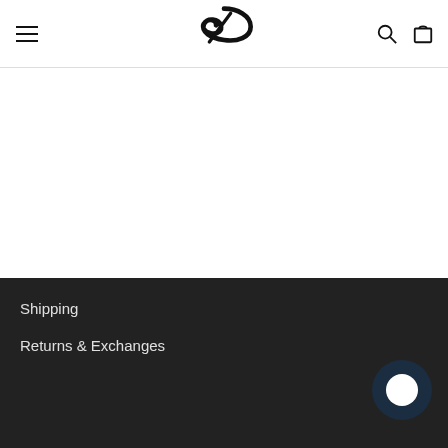Navigation header with hamburger menu, logo, search and cart icons
WOMEN'S HY
$204.95
Shipping
Returns & Exchanges